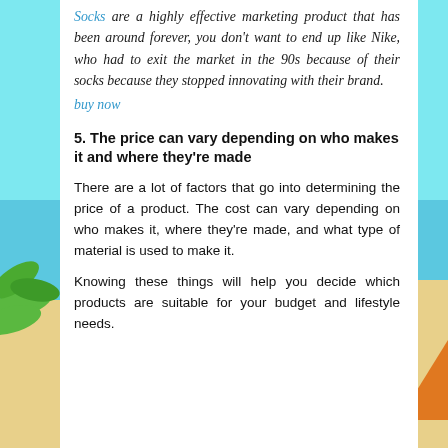Socks are a highly effective marketing product that has been around forever, you don't want to end up like Nike, who had to exit the market in the 90s because of their socks because they stopped innovating with their brand. buy now
5. The price can vary depending on who makes it and where they're made
There are a lot of factors that go into determining the price of a product. The cost can vary depending on who makes it, where they're made, and what type of material is used to make it.
Knowing these things will help you decide which products are suitable for your budget and lifestyle needs.